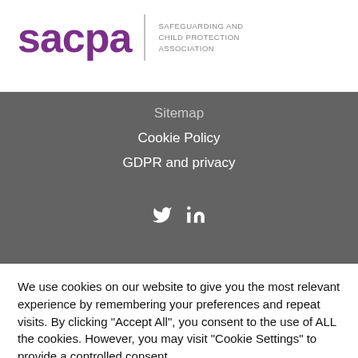[Figure (logo): SACPA logo with purple stylized text 'sacpa' and vertical divider with text 'SAFEGUARDING AND CHILD PROTECTION ASSOCIATION']
Sitemap
Cookie Policy
GDPR and privacy
[Figure (illustration): Social media icons: Twitter (bird) and LinkedIn]
We use cookies on our website to give you the most relevant experience by remembering your preferences and repeat visits. By clicking "Accept All", you consent to the use of ALL the cookies. However, you may visit "Cookie Settings" to provide a controlled consent.
Cookie settings | Reject | Accept All